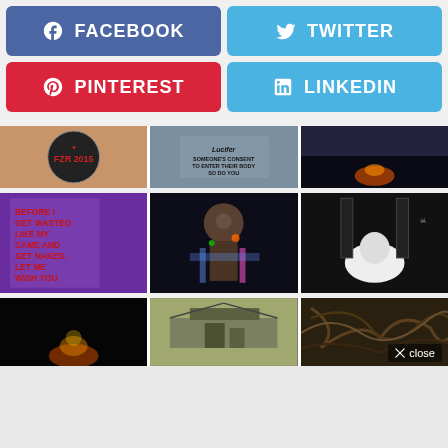[Figure (infographic): Social media share buttons: Facebook (dark blue), Twitter (light blue), Pinterest (red), LinkedIn (light blue)]
[Figure (photo): Grid of photos: FZR 2015 patch, Lucifer text on hand, fire/night scene; purple text note about burning man, llama at night festival, white sculpture on stage; dark fire, rooftop/tree structure, twisted rope/wire]
× close